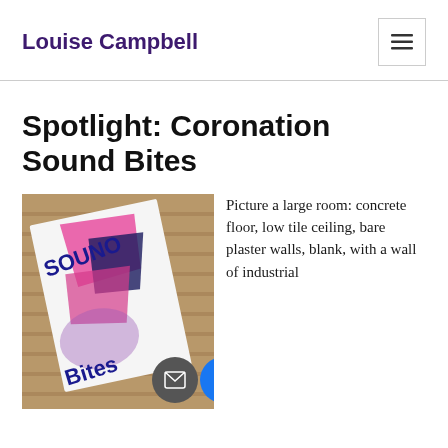Louise Campbell
Spotlight: Coronation Sound Bites
[Figure (photo): A colorful art zine or booklet titled 'Sound Bites' with blue lettering and pink/purple abstract artwork, resting on a cardboard surface.]
Picture a large room: concrete floor, low tile ceiling, bare plaster walls, blank, with a wall of industrial